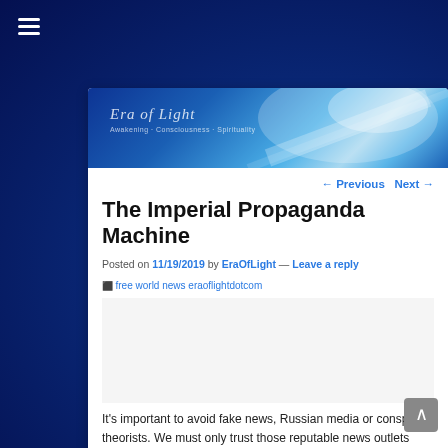[Figure (screenshot): Dark blue starfield background with radial light gradient]
Era of Light
← Previous   Next →
The Imperial Propaganda Machine
Posted on 11/19/2019 by EraOfLight — Leave a reply
[Figure (photo): Broken image placeholder with alt text: free world news eraoflightdotcom]
It's important to avoid fake news, Russian media or conspiracy theorists. We must only trust those reputable news outlets who tell us that neoliberalism is working fine, that US foreign policy